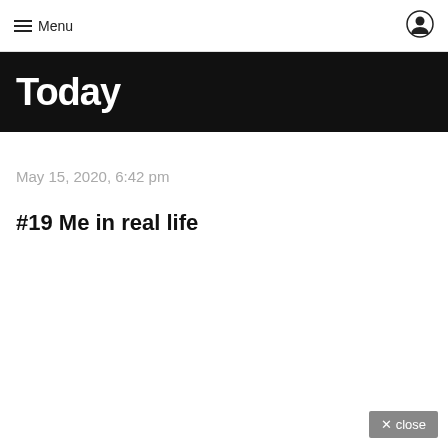Menu
Today
May 15, 2020, 6:42 pm
#19 Me in real life
× close